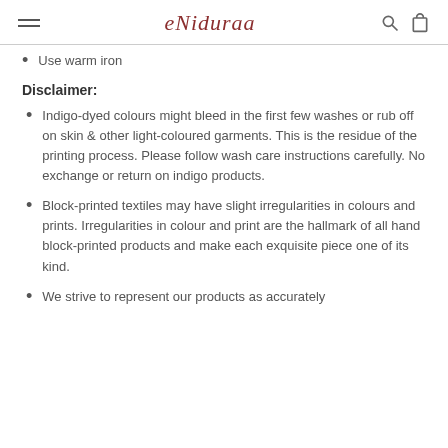eNiduraa
Use warm iron
Disclaimer:
Indigo-dyed colours might bleed in the first few washes or rub off on skin & other light-coloured garments. This is the residue of the printing process. Please follow wash care instructions carefully. No exchange or return on indigo products.
Block-printed textiles may have slight irregularities in colours and prints. Irregularities in colour and print are the hallmark of all hand block-printed products and make each exquisite piece one of its kind.
We strive to represent our products as accurately